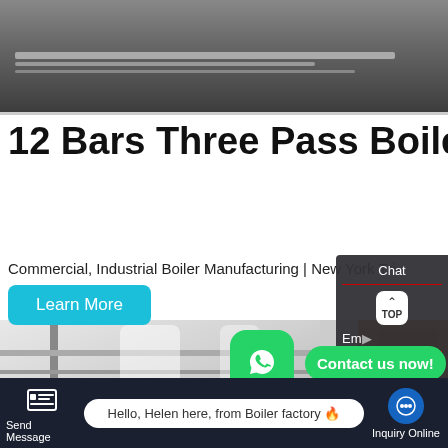[Figure (photo): Top photo of an industrial warehouse or factory interior showing metal pipes/beams on a concrete floor]
12 Bars Three Pass Boiler Purchased By Turkey
Commercial, Industrial Boiler Manufacturing | New York Tri
Learn More
[Figure (photo): Photo of an industrial boiler unit - a large white/grey rectangular machine with orange pipe/boiler visible on the right]
Chat
TOP
Em
Contact us now!
Contact
Send Message
Hello, Helen here, from Boiler factory 🔥
Inquiry Online